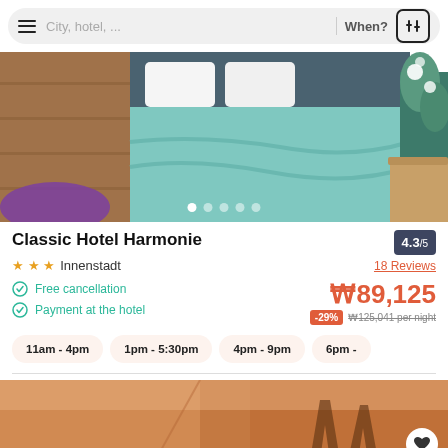[Figure (screenshot): Search bar with hamburger menu, city/hotel placeholder, When? text, and filter icon]
[Figure (photo): Hotel room photo showing a bed with teal/aqua colored bedding, wooden floors, and decorative plant]
Classic Hotel Harmonie
4.3/5 — 18 Reviews
★★★ Innenstadt
Free cancellation
Payment at the hotel
₩89,125 — -29% — ₩125,041 per night
11am - 4pm
1pm - 5:30pm
4pm - 9pm
6pm -
[Figure (photo): Hotel interior photo showing warm orange/terracotta toned room with silhouette wall art]